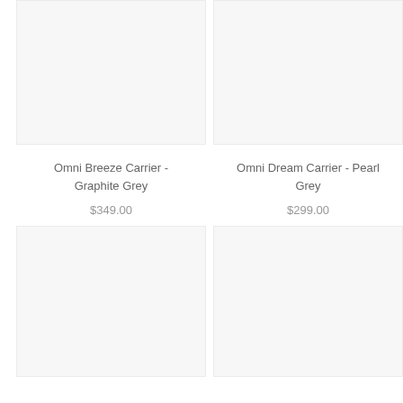[Figure (photo): Product image placeholder for Omni Breeze Carrier - Graphite Grey, light grey background]
[Figure (photo): Product image placeholder for Omni Dream Carrier - Pearl Grey, light grey background]
Omni Breeze Carrier - Graphite Grey
$349.00
Omni Dream Carrier - Pearl Grey
$299.00
[Figure (photo): Product image placeholder bottom-left, light grey background]
[Figure (photo): Product image placeholder bottom-right, light grey background]